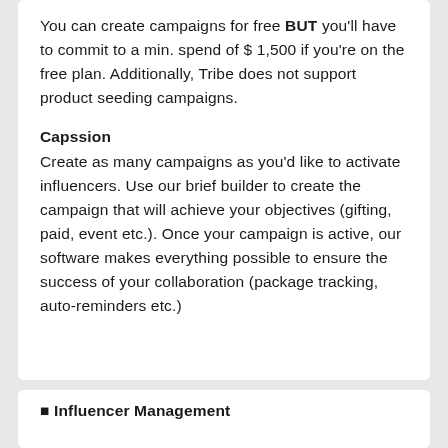You can create campaigns for free BUT you'll have to commit to a min. spend of $ 1,500 if you're on the free plan. Additionally, Tribe does not support product seeding campaigns.
Capssion
Create as many campaigns as you'd like to activate influencers. Use our brief builder to create the campaign that will achieve your objectives (gifting, paid, event etc.). Once your campaign is active, our software makes everything possible to ensure the success of your collaboration (package tracking, auto-reminders etc.)
Influencer Management